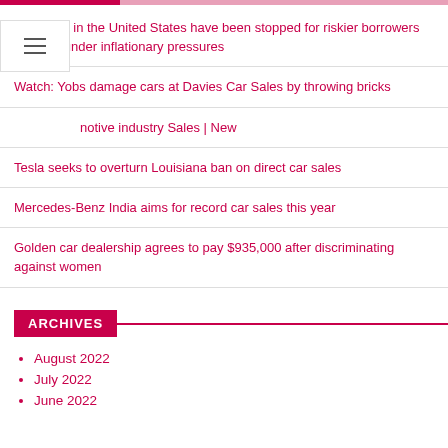Car loans in the United States have been stopped for riskier borrowers who are under inflationary pressures
Watch: Yobs damage cars at Davies Car Sales by throwing bricks
notive industry Sales | New
Tesla seeks to overturn Louisiana ban on direct car sales
Mercedes-Benz India aims for record car sales this year
Golden car dealership agrees to pay $935,000 after discriminating against women
ARCHIVES
August 2022
July 2022
June 2022